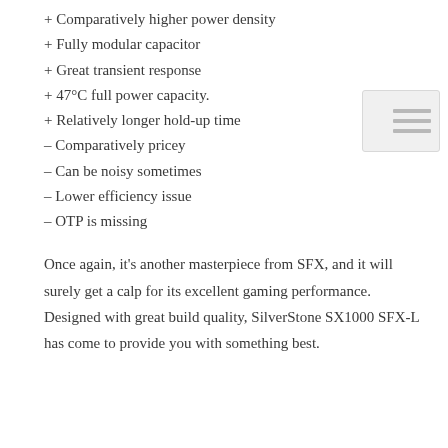+ Comparatively higher power density
+ Fully modular capacitor
+ Great transient response
+ 47°C full power capacity.
+ Relatively longer hold-up time
– Comparatively pricey
– Can be noisy sometimes
– Lower efficiency issue
– OTP is missing
Once again, it's another masterpiece from SFX, and it will surely get a calp for its excellent gaming performance. Designed with great build quality, SilverStone SX1000 SFX-L has come to provide you with something best.